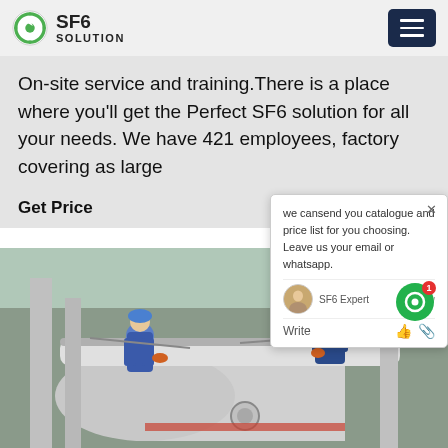SF6 SOLUTION
On-site service and training.There is a place where you'll get the Perfect SF6 solution for all your needs. We have 421 employees, factory covering as large
Get Price
[Figure (photo): Two workers in blue coveralls and blue hard hats working on large industrial SF6 gas equipment pipes and cylinders outdoors]
we cansend you catalogue and price list for you choosing. Leave us your email or whatsapp.
SF6 Expert   justnow
Write